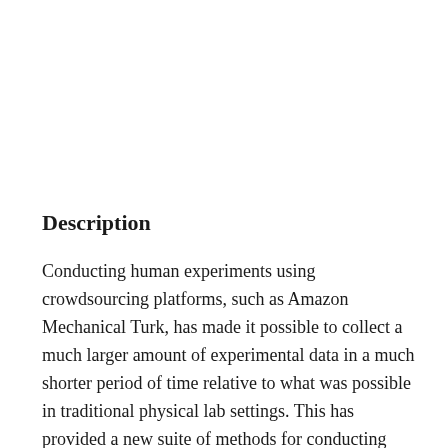Description
Conducting human experiments using crowdsourcing platforms, such as Amazon Mechanical Turk, has made it possible to collect a much larger amount of experimental data in a much shorter period of time relative to what was possible in traditional physical lab settings. This has provided a new suite of methods for conducting randomized